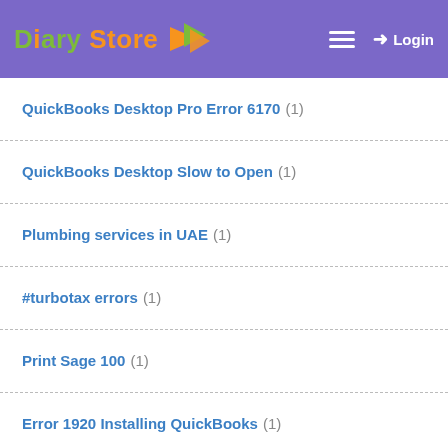Diary Store — Login
QuickBooks Desktop Pro Error 6170 (1)
QuickBooks Desktop Slow to Open (1)
Plumbing services in UAE (1)
#turbotax errors (1)
Print Sage 100 (1)
Error 1920 Installing QuickBooks (1)
Payroll Update Error 15215 (1)
Kamal Hassan (1)
quickbooks online (2)
Henry Wheeler Shaw (1)
Henry Ford (1)
AOL Mail Password Recovery (2)
Angela Merkel (1)